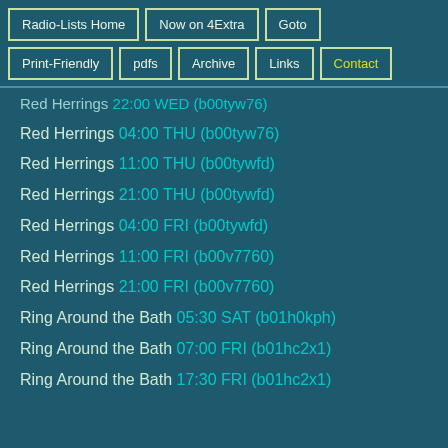Radio-Lists Home
Now on 4Extra
Goto
Print-Friendly
pdfs
Archive
Links
Contact
Red Herrings 22:00 WED (b00tyw76)
Red Herrings 04:00 THU (b00tyw76)
Red Herrings 11:00 THU (b00tywfd)
Red Herrings 21:00 THU (b00tywfd)
Red Herrings 04:00 FRI (b00tywfd)
Red Herrings 11:00 FRI (b00v7760)
Red Herrings 21:00 FRI (b00v7760)
Ring Around the Bath 05:30 SAT (b01h0kph)
Ring Around the Bath 07:00 FRI (b01hc2x1)
Ring Around the Bath 17:30 FRI (b01hc2x1)